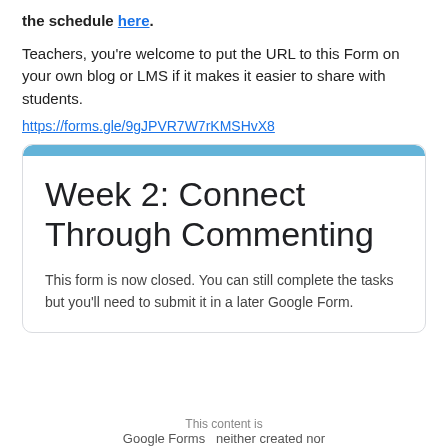the schedule here.
Teachers, you're welcome to put the URL to this Form on your own blog or LMS if it makes it easier to share with students.
https://forms.gle/9gJPVR7W7rKMSHvX8
[Figure (screenshot): Google Form card with blue top bar, title 'Week 2: Connect Through Commenting', and description text 'This form is now closed. You can still complete the tasks but you'll need to submit it in a later Google Form.']
This content is
Google Forms neither created nor